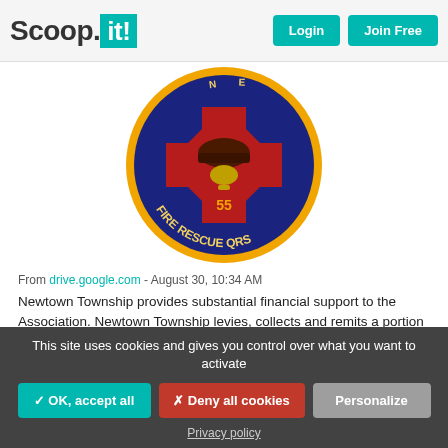Scoop.it! | Login | Join Free
[Figure (logo): Newtown Township Fire Rescue QRS badge/patch - circular badge with number 55, dark blue and red with gold border]
From drive.google.com - August 30, 10:34 AM
Newtown Township provides substantial financial support to the Association. Newtown Township levies, collects and remits a portion .875 mills of real estate taxes to the Association. During the year ended December 31, 2021 , Newtown Township remitted real estate taxes of $160,000 to the Association. Because of the significance of the Association's financial relationship with Newtown Township, the
This site uses cookies and gives you control over what you want to activate
✓ OK, accept all | ✗ Deny all cookies | Personalize | Privacy policy